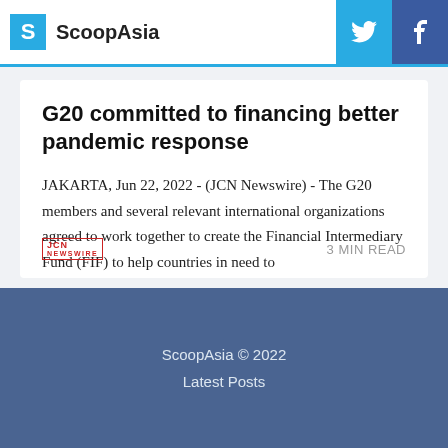ScoopAsia
G20 committed to financing better pandemic response
JAKARTA, Jun 22, 2022 - (JCN Newswire) - The G20 members and several relevant international organizations agreed to work together to create the Financial Intermediary Fund (FIF) to help countries in need to
3 MIN READ
ScoopAsia © 2022
Latest Posts